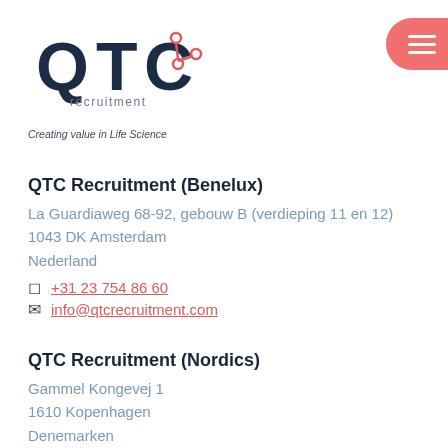[Figure (logo): QTC Recruitment logo with dark blue QTC text and red network icon]
recruitment
Creating value in Life Science
QTC Recruitment (Benelux)
La Guardiaweg 68-92, gebouw B (verdieping 11 en 12)
1043 DK Amsterdam
Nederland
+31 23 754 86 60
info@qtcrecruitment.com
QTC Recruitment (Nordics)
Gammel Kongevej 1
1610 Kopenhagen
Denemarken
+45 89 88 26 70